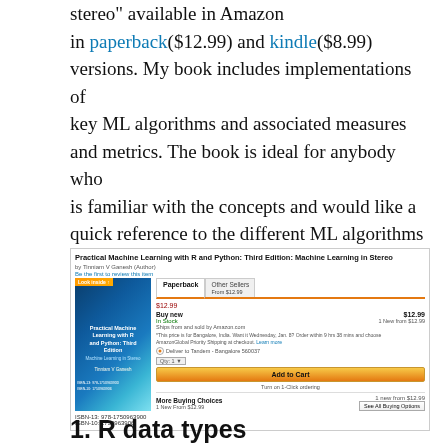stereo" available in Amazon in paperback($12.99) and kindle($8.99) versions. My book includes implementations of key ML algorithms and associated measures and metrics. The book is ideal for anybody who is familiar with the concepts and would like a quick reference to the different ML algorithms that can be applied to problems and how to select the best model. Pick your copy today!!
[Figure (screenshot): Amazon product page screenshot for 'Practical Machine Learning with R and Python: Third Edition: Machine Learning in Stereo' showing paperback at $12.99 and kindle options, with book cover, pricing, Add to Cart button, and More Buying Choices section.]
1. R data types